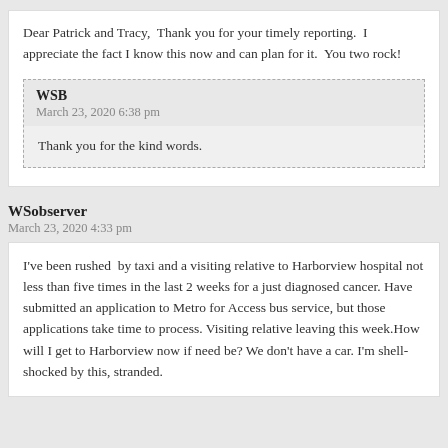Dear Patrick and Tracy,  Thank you for your timely reporting.  I appreciate the fact I know this now and can plan for it.  You two rock!
WSB
March 23, 2020 6:38 pm
Thank you for the kind words.
WSobserver
March 23, 2020 4:33 pm
I've been rushed  by taxi and a visiting relative to Harborview hospital not less than five times in the last 2 weeks for a just diagnosed cancer. Have submitted an application to Metro for Access bus service, but those applications take time to process. Visiting relative leaving this week.How will I get to Harborview now if need be? We don't have a car. I'm shell-shocked by this, stranded.